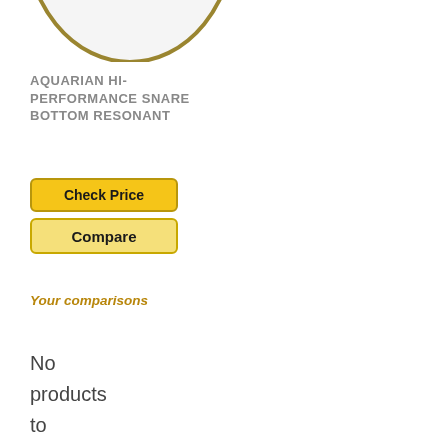[Figure (illustration): Partial view of a circular drum head (snare bottom resonant head) with a gold/olive colored rim, showing only the top portion of the circle against a white background.]
AQUARIAN HI-PERFORMANCE SNARE BOTTOM RESONANT
Check Price
Compare
Your comparisons
No products to compare